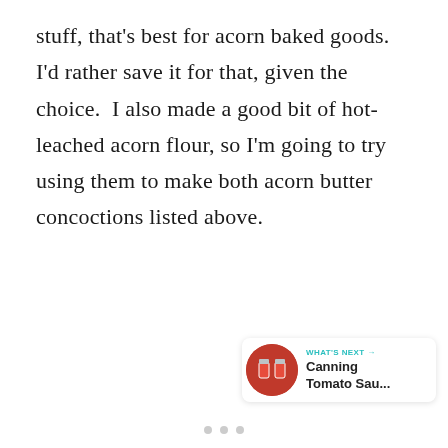stuff, that's best for acorn baked goods.  I'd rather save it for that, given the choice.  I also made a good bit of hot-leached acorn flour, so I'm going to try using them to make both acorn butter concoctions listed above.
[Figure (infographic): Heart/like button (teal circle with heart icon), like count 20.7K, and share button (white pill with share icon)]
[Figure (infographic): What's Next widget: circular thumbnail of canning jars with text 'WHAT'S NEXT → Canning Tomato Sau...']
[Figure (infographic): Three pagination dots at the bottom of the page]